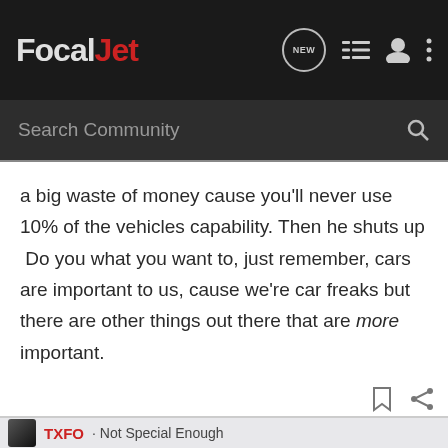FocalJet
a big waste of money cause you'll never use 10% of the vehicles capability. Then he shuts up  Do you what you want to, just remember, cars are important to us, cause we're car freaks but there are other things out there that are more important.
TXFO · Not Special Enough